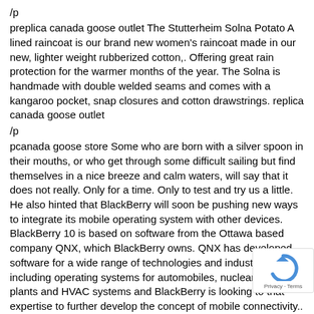/p
preplica canada goose outlet The Stutterheim Solna Potato A lined raincoat is our brand new women's raincoat made in our new, lighter weight rubberized cotton,. Offering great rain protection for the warmer months of the year. The Solna is handmade with double welded seams and comes with a kangaroo pocket, snap closures and cotton drawstrings. replica canada goose outlet
/p
pcanada goose store Some who are born with a silver spoon in their mouths, or who get through some difficult sailing but find themselves in a nice breeze and calm waters, will say that it does not really. Only for a time. Only to test and try us a little. He also hinted that BlackBerry will soon be pushing new ways to integrate its mobile operating system with other devices. BlackBerry 10 is based on software from the Ottawa based company QNX, which BlackBerry owns. QNX has developed software for a wide range of technologies and industries including operating systems for automobiles, nuclear power plants and HVAC systems and BlackBerry is looking to that expertise to further develop the concept of mobile connectivity.. canada goose store
/p